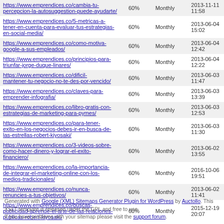| https://www.emprendices.co/cambia-tu-percepcion-la-autosuggestion-puede-ayudarte/ | 60% | Monthly | 2013-11-11 11:58 |
| https://www.emprendices.co/5-metricas-a-tener-en-cuenta-para-evaluar-tus-estrategias-en-social-media/ | 60% | Monthly | 2013-06-04 15:02 |
| https://www.emprendices.co/como-motiva-google-a-sus-empleados/ | 60% | Monthly | 2013-06-04 12:42 |
| https://www.emprendices.co/principios-para-triunfar-jorge-duque-linares/ | 60% | Monthly | 2013-06-04 12:22 |
| https://www.emprendices.co/dificil-mantener-tu-negocio-no-te-des-por-vencido/ | 60% | Monthly | 2013-06-03 11:47 |
| https://www.emprendices.co/claves-para-emprender-infografia/ | 60% | Monthly | 2013-06-03 13:39 |
| https://www.emprendices.co/libro-gratis-con-estrategias-de-marketing-para-pymes/ | 60% | Monthly | 2013-06-03 12:53 |
| https://www.emprendices.co/para-tener-exito-en-los-negocios-debes-ir-en-busca-de-las-estrellas-robert-kiyosaki/ | 60% | Monthly | 2013-06-03 11:30 |
| https://www.emprendices.co/3-videos-sobre-como-hacer-dinero-y-lograr-el-exito-financiero/ | 60% | Monthly | 2013-06-02 13:55 |
| https://www.emprendices.co/la-importancia-de-integrar-el-marketing-online-con-los-medios-tradicionales/ | 60% | Monthly | 2016-10-06 19:51 |
| https://www.emprendices.co/nunca-renuncies-a-tus-objetivos/ | 60% | Monthly | 2013-06-02 11:41 |
| https://www.emprendices.co/buscas-publicidad-aprende-el-arte-de-las-relaciones-publicas-robert-kiyosaki/ | 60% | Monthly | 2015-12-19 20:07 |
Generated with Google (XML) Sitemaps Generator Plugin for WordPress by Auctollo. This XSLT template is released under the GPL and free to use. If you have problems with your sitemap please visit the support forum.